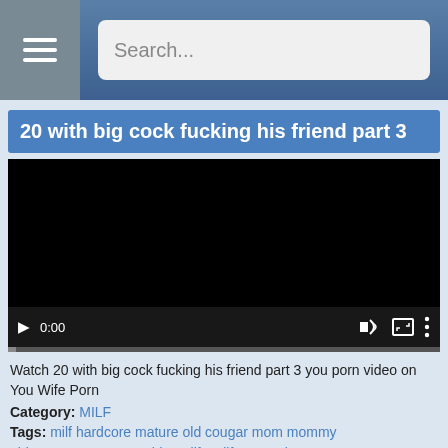Search...
20 with big cock fucking his friend part 3
[Figure (other): Embedded video player showing black screen with playback controls: play button, 0:00 timestamp, volume icon, fullscreen icon, and options menu icon. Progress bar at bottom.]
Watch 20 with big cock fucking his friend part 3 you porn video on You Wife Porn
Category: MILF
Tags: milf hardcore mature old cougar mom mommy olderwoman cougars older milfs milf-cougar hunter mature